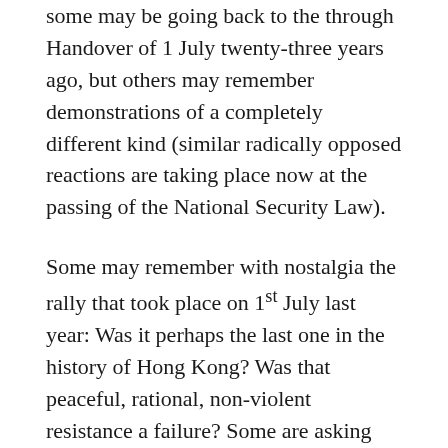some may be going back to the through Handover of 1 July twenty-three years ago, but others may remember demonstrations of a completely different kind (similar radically opposed reactions are taking place now at the passing of the National Security Law).
Some may remember with nostalgia the rally that took place on 1st July last year: Was it perhaps the last one in the history of Hong Kong? Was that peaceful, rational, non-violent resistance a failure? Some are asking themselves: what have we achieved with the Anti-Article 23 resistance, with the “Occupy Central” movement, and with the cooperation between “Peaceful Resistance” and “Aggressive Resistance” fighting the extradition law and police brutality?
Some say the National Security Law is here, what can we do?
What I myself have been remembering all this time, is what